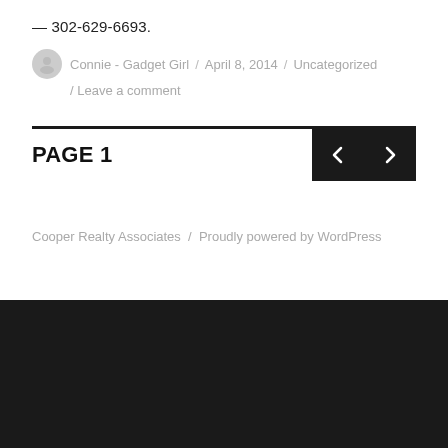— 302-629-6693.
Connie - Gadget Girl / April 8, 2014 / Uncategorized / Leave a comment
PAGE 1
Cooper Realty Associates / Proudly powered by WordPress